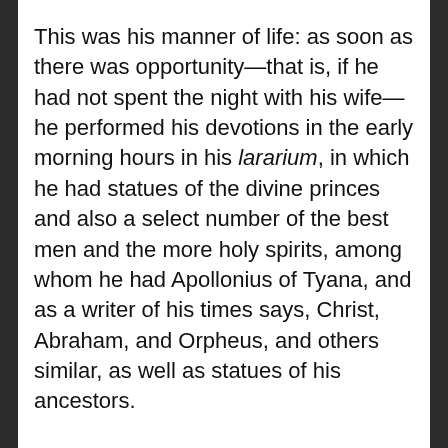This was his manner of life: as soon as there was opportunity—that is, if he had not spent the night with his wife—he performed his devotions in the early morning hours in his lararium, in which he had statues of the divine princes and also a select number of the best men and the more holy spirits, among whom he had Apollonius of Tyana, and as a writer of his times says, Christ, Abraham, and Orpheus, and others similar, as well as statues of his ancestors.
Athenaios, Deipnosophistai 10.445a-b
Antheas of Lindos, claiming to be a relative